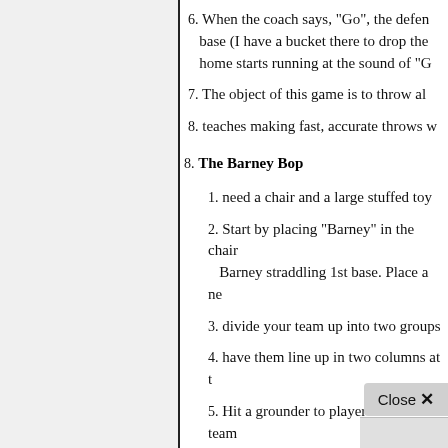6. When the coach says, "Go", the defe base (I have a bucket there to drop the home starts running at the sound of "G
7. The object of this game is to throw al
8. teaches making fast, accurate throws w
8. The Barney Bop
1. need a chair and a large stuffed toy
2. Start by placing "Barney" in the chair Barney straddling 1st base. Place a ne
3. divide your team up into two groups
4. have them line up in two columns at t
5. Hit a grounder to player 1 from team
6. She must cleanly field the ball and ma
7. If this is done, her team scores one po
8. Then the 1st player from